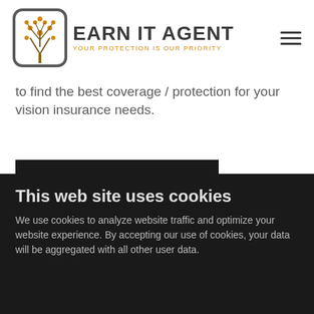[Figure (logo): Earn It Agent logo with tree icon and tagline 'YOUR PROTECTION IS OUR PRIORITY']
to find the best coverage / protection for your vision insurance needs.
VISION INSURANCE QUOTE
Life Insurance
This web site uses cookies
We use cookies to analyze website traffic and optimize your website experience. By accepting our use of cookies, your data will be aggregated with all other user data.